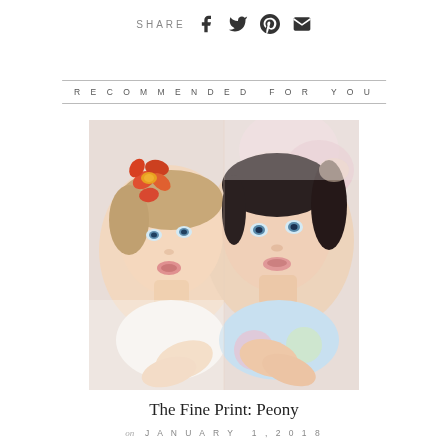SHARE [facebook] [twitter] [pinterest] [email]
RECOMMENDED FOR YOU
[Figure (photo): Two young girls blowing kisses toward camera; left girl has red/orange flower in hair, right girl has dark hair pulled back; both wearing light summer clothing with floral elements]
The Fine Print: Peony
on JANUARY 1, 2018